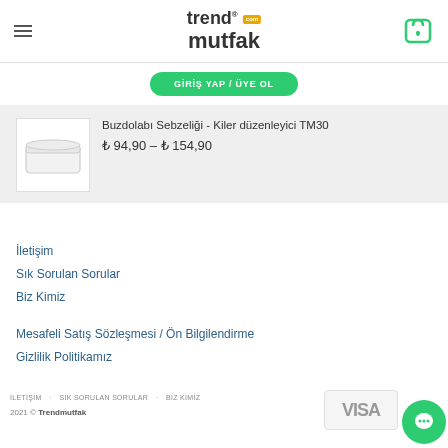[Figure (logo): Trendmutfak logo with hamburger menu and shopping cart icon]
GIRIŞ YAP / ÜYE OL
[Figure (photo): White plastic storage container / refrigerator vegetable organizer]
Buzdolabı Sebzeliği - Kiler düzenleyici TM30
₺ 94,90 – ₺ 154,90
İletişim
Sık Sorulan Sorular
Biz Kimiz
Mesafeli Satış Sözleşmesi / Ön Bilgilendirme
Gizlilik Politikamız
İLETİŞİM   SIK SORULAN SORULAR   BİZ KİMİZ
2021 © Trendmutfak